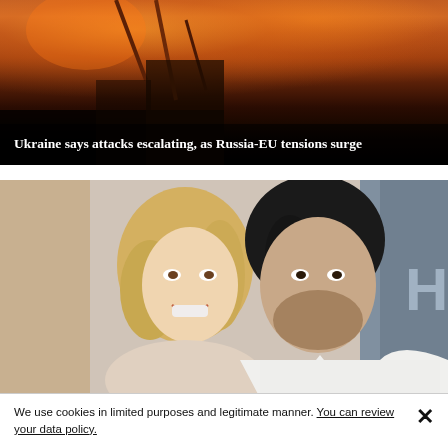[Figure (photo): Dark scene with silhouetted figures against a background of fire and flames, appearing to be a war or conflict scene. A news headline overlay reads: Ukraine says attacks escalating, as Russia-EU tensions surge]
Ukraine says attacks escalating, as Russia-EU tensions surge
[Figure (photo): Photo of a blonde woman and a dark-haired man posing together at what appears to be a red carpet or entertainment event. The man is wearing a white jacket.]
We use cookies in limited purposes and legitimate manner. You can review your data policy.